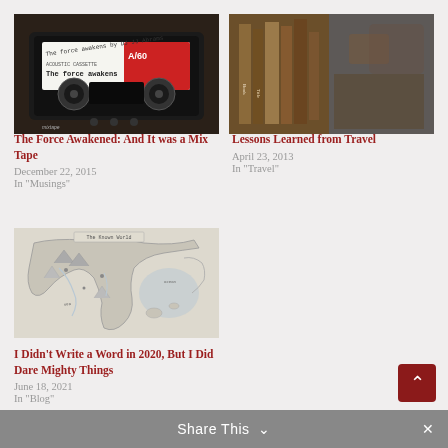[Figure (photo): Photo of a cassette mixtape labeled 'The force awakens by DJ JJ Abrams', Acoustic Cassette A/60]
The Force Awakened: And It was a Mix Tape
December 22, 2015
In "Musings"
[Figure (photo): Photo of books and a rusty blue surface with sawdust or grain]
Lessons Learned from Travel
April 23, 2013
In "Travel"
[Figure (map): Black and white hand-drawn fantasy or historical map showing coastlines, mountains, and geographic features]
I Didn’t Write a Word in 2020, But I Did Dare Mighty Things
June 18, 2021
In "Blog"
Share This ⌄ ×